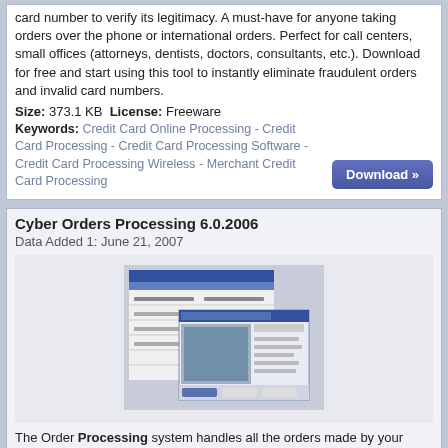card number to verify its legitimacy. A must-have for anyone taking orders over the phone or international orders. Perfect for call centers, small offices (attorneys, dentists, doctors, consultants, etc.). Download for free and start using this tool to instantly eliminate fraudulent orders and invalid card numbers.
Size: 373.1 KB License: Freeware
Keywords: Credit Card Online Processing - Credit Card Processing - Credit Card Processing Software - Credit Card Processing Wireless - Merchant Credit Card Processing
[Figure (other): Download button with >> arrows, blue gradient]
Cyber Orders Processing 6.0.2006
Data Added 1: June 21, 2007
[Figure (screenshot): Screenshot thumbnail of Cyber Orders Processing software interface]
The Order Processing system handles all the orders made by your customers from the time it is placed to the dispatching of the orders. The system manages your stock and reorder levels, your suppliers, sales staff, shippers, product and product categories. It is a nightmare to ensure that orders go out on time without some sort of order processing system. Managing your sales staff, controlling your stock, so that you are never out of stock, can add to your headache. The list is endless....
Size: 6.9 MB License: Shareware Price: $59.99
Keywords: Business - Dispatch - Dispatching